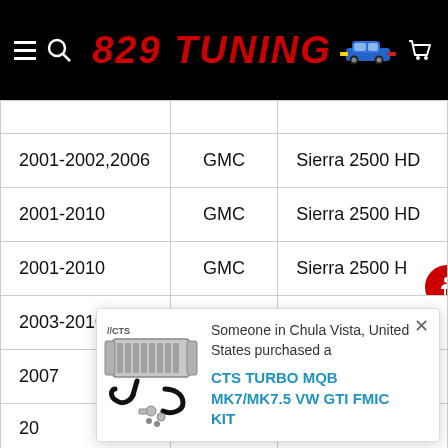829 TUNING
| Year | Make | Model |
| --- | --- | --- |
|  |  |  |
| 2001-2002,2006 | GMC | Sierra 2500 HD |
| 2001-2010 | GMC | Sierra 2500 HD |
| 2001-2010 | GMC | Sierra 2500 HD |
| 2003-2010 | GMC | Sierra 2500 HD |
| 2007 | GMC | Sierra 2500 HD |
| 20... | GMC | ...0 HD |
| 20... | GMC | ...0 HD |
[Figure (screenshot): Popup notification: Someone in Chula Vista, United States purchased a CTS TURBO MQB MK7/MK7.5 VW GTI FMIC KIT, with product image showing intercooler kit with hoses.]